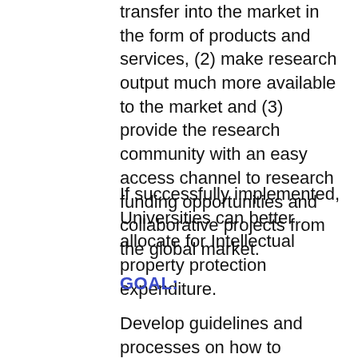transfer into the market in the form of products and services, (2) make research output much more available to the market and (3) provide the research community with an easy access channel to research funding opportunities and collaborative projects from the global market.
If successfully implemented, Universities can better allocate for Intellectual property protection expenditure.
GOAL:
Develop guidelines and processes on how to implement an online university Open Innovation (OI) Marketplace for technology transfer to support universities to facilitate direct connections between university researchers and external partners (e.g. the